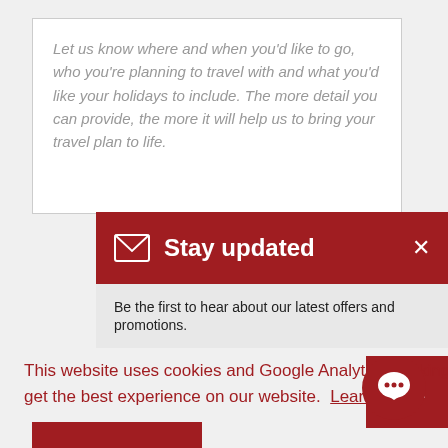Let us know where and when you'd like to go, who you're planning to travel with and what you'd like your holidays to include. The more detail you can provide, the more it will help us to bring your travel plan to life.
Stay updated
Be the first to hear about our latest offers and promotions.
This website uses cookies and Google Analytics tracking to ensure you get the best experience on our website. Learn more
Got it!